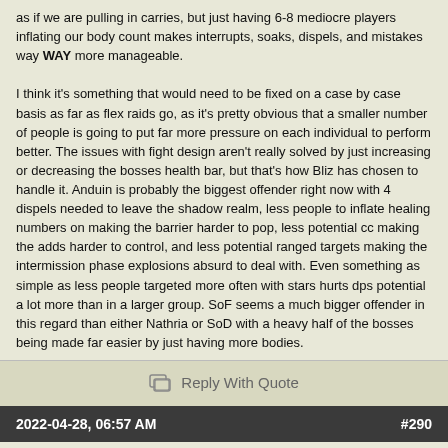as if we are pulling in carries, but just having 6-8 mediocre players inflating our body count makes interrupts, soaks, dispels, and mistakes way WAY more manageable.

I think it's something that would need to be fixed on a case by case basis as far as flex raids go, as it's pretty obvious that a smaller number of people is going to put far more pressure on each individual to perform better. The issues with fight design aren't really solved by just increasing or decreasing the bosses health bar, but that's how Bliz has chosen to handle it. Anduin is probably the biggest offender right now with 4 dispels needed to leave the shadow realm, less people to inflate healing numbers on making the barrier harder to pop, less potential cc making the adds harder to control, and less potential ranged targets making the intermission phase explosions absurd to deal with. Even something as simple as less people targeted more often with stars hurts dps potential a lot more than in a larger group. SoF seems a much bigger offender in this regard than either Nathria or SoD with a heavy half of the bosses being made far easier by just having more bodies.
Reply With Quote
2022-04-28, 06:57 AM   #290
VMSmith  ○  Stood in the Fire
[Figure (illustration): User avatar: cartoon green alien/monster character on dark background]
[Figure (photo): Advertisement banner: 'KISS BORING LIPS GOODBYE' with model and Macy's logo, SHOP NOW button]